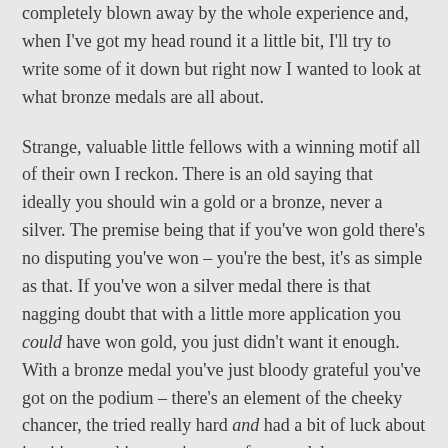completely blown away by the whole experience and, when I've got my head round it a little bit, I'll try to write some of it down but right now I wanted to look at what bronze medals are all about.
Strange, valuable little fellows with a winning motif all of their own I reckon. There is an old saying that ideally you should win a gold or a bronze, never a silver. The premise being that if you've won gold there's no disputing you've won – you're the best, it's as simple as that. If you've won a silver medal there is that nagging doubt that with a little more application you could have won gold, you just didn't want it enough. With a bronze medal you've just bloody grateful you've got on the podium – there's an element of the cheeky chancer, the tried really hard and had a bit of luck about it – it's a working man' s or grafters medal.
Winning a bronze medal is like getting a 2:2 degree (I can say this as I've got a 'Desmond' myself). It's a degree but it's not as smug as a 1st – it shows effort and application more than raw